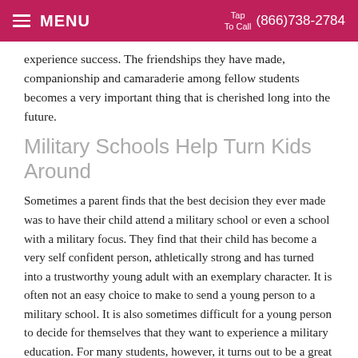MENU | Tap To Call (866)738-2784
experience success. The friendships they have made, companionship and camaraderie among fellow students becomes a very important thing that is cherished long into the future.
Military Schools Help Turn Kids Around
Sometimes a parent finds that the best decision they ever made was to have their child attend a military school or even a school with a military focus. They find that their child has become a very self confident person, athletically strong and has turned into a trustworthy young adult with an exemplary character. It is often not an easy choice to make to send a young person to a military school. It is also sometimes difficult for a young person to decide for themselves that they want to experience a military education. For many students, however, it turns out to be a great decision.
Investing in one's future is the best investment a person can ever